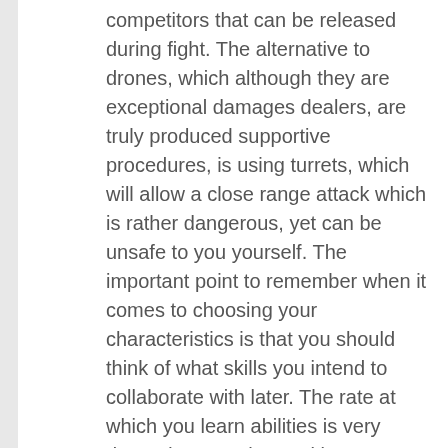competitors that can be released during fight. The alternative to drones, which although they are exceptional damages dealers, are truly produced supportive procedures, is using turrets, which will allow a close range attack which is rather dangerous, yet can be unsafe to you yourself. The important point to remember when it comes to choosing your characteristics is that you should think of what skills you intend to collaborate with later. The rate at which you learn abilities is very dependent on what ranking you have in the feature it is related to, so to ensure that you can spend much less time finding out the skills you have an interest in, see to it that you take higher degrees of the relevant characteristics. You'll additionally find that Personal appeal is a much less helpful ability than the others, but this might change as the game develops.